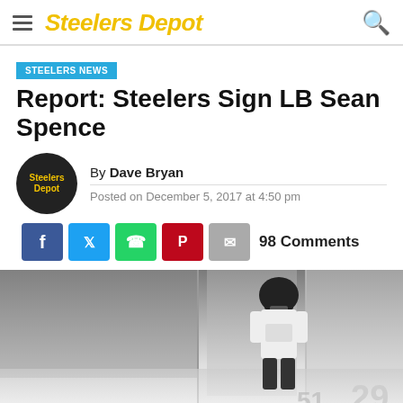Steelers Depot
STEELERS NEWS
Report: Steelers Sign LB Sean Spence
By Dave Bryan
Posted on December 5, 2017 at 4:50 pm
98 Comments
[Figure (photo): Football player in Steelers uniform, number 29 visible, walking through tunnel or corridor]